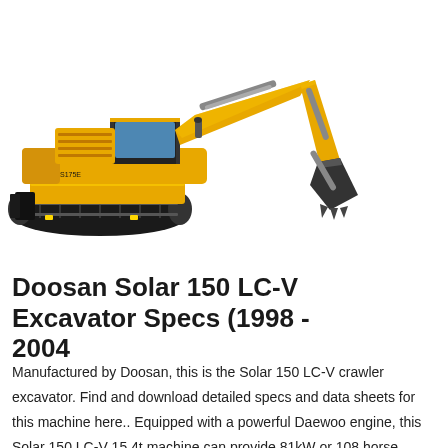[Figure (photo): Yellow SANY crawler excavator (Doosan Solar 150 LC-V type) on white background, showing full side view with bucket, boom, cab, and tracks.]
Doosan Solar 150 LC-V Excavator Specs (1998 - 2004
Manufactured by Doosan, this is the Solar 150 LC-V crawler excavator. Find and download detailed specs and data sheets for this machine here.. Equipped with a powerful Daewoo engine, this Solar 150 LC-V 15.4t machine can provide 81kW or 108 horse power for the crawler excavator.